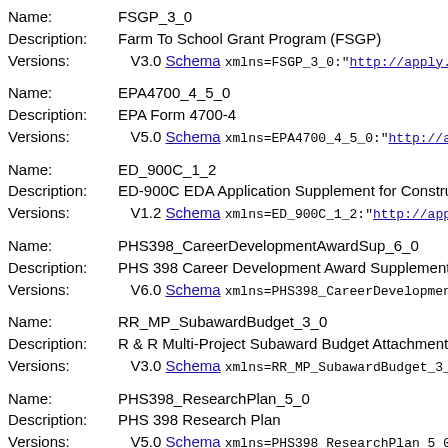Name: FSGP_3_0
Description: Farm To School Grant Program (FSGP)
Versions: V3.0 Schema xmlns=FSGP_3_0:"http://apply.gran...
Name: EPA4700_4_5_0
Description: EPA Form 4700-4
Versions: V5.0 Schema xmlns=EPA4700_4_5_0:"http://apply...
Name: ED_900C_1_2
Description: ED-900C EDA Application Supplement for Constructi...
Versions: V1.2 Schema xmlns=ED_900C_1_2:"http://apply.g...
Name: PHS398_CareerDevelopmentAwardSup_6_0
Description: PHS 398 Career Development Award Supplemental Fo...
Versions: V6.0 Schema xmlns=PHS398_CareerDevelopmentAwa...
Name: RR_MP_SubawardBudget_3_0
Description: R & R Multi-Project Subaward Budget Attachment(s)...
Versions: V3.0 Schema xmlns=RR_MP_SubawardBudget_3_0:"h...
Name: PHS398_ResearchPlan_5_0
Description: PHS 398 Research Plan
Versions: V5.0 Schema xmlns=PHS398_ResearchPlan_5_0:"ht...